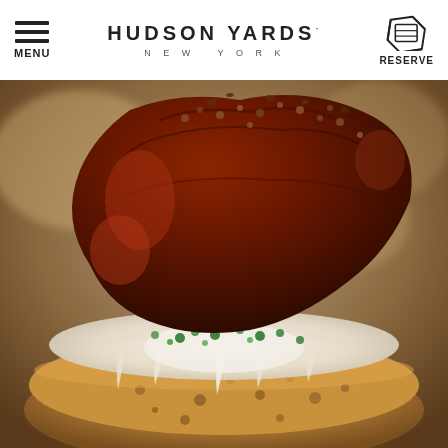MENU | HUDSON YARDS NEW YORK | RESERVE
[Figure (photo): Close-up food photo of a crispy fried chicken or meat patty sandwich with melted white cheese sauce and fresh green herbs (parsley/cilantro), on a toasted seeded bun. The food is photographed in extreme close-up macro style with a blurred background.]